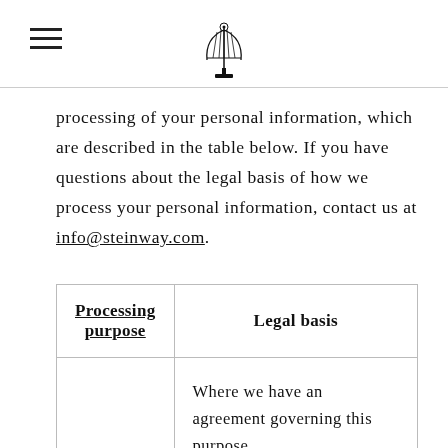[Steinway logo]
processing of your personal information, which are described in the table below. If you have questions about the legal basis of how we process your personal information, contact us at info@steinway.com.
| Processing purpose | Legal basis |
| --- | --- |
|  | Where we have an agreement governing this purpose |